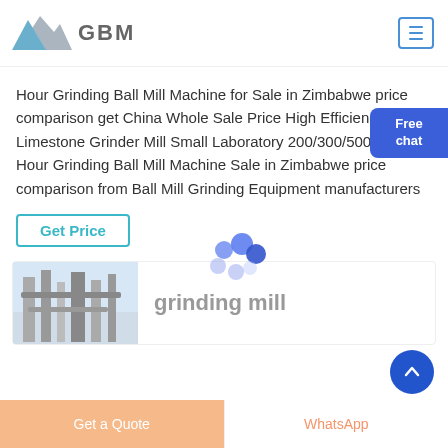GBM
Hour Grinding Ball Mill Machine for Sale in Zimbabwe price comparison get China Whole Sale Price High Efficiency Limestone Grinder Mill Small Laboratory 200/300/500kg Per Hour Grinding Ball Mill Machine Sale in Zimbabwe price comparison from Ball Mill Grinding Equipment manufacturers
Get Price
[Figure (logo): Grinding mill product thumbnail image with industrial pipes]
grinding mill
Get a Quote | WhatsApp